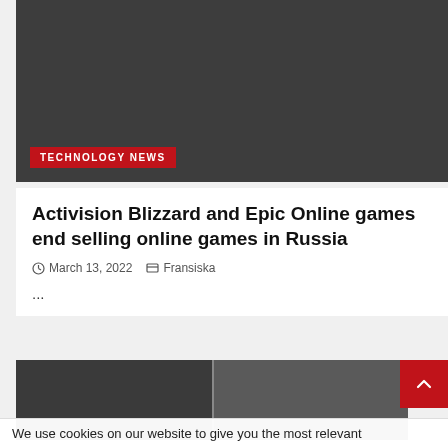[Figure (photo): Dark gray banner image with a red 'TECHNOLOGY NEWS' badge label at lower left]
Activision Blizzard and Epic Online games end selling online games in Russia
March 13, 2022   Fransiska
...
[Figure (photo): Two side-by-side photos of men speaking at an event, partially visible]
We use cookies on our website to give you the most relevant